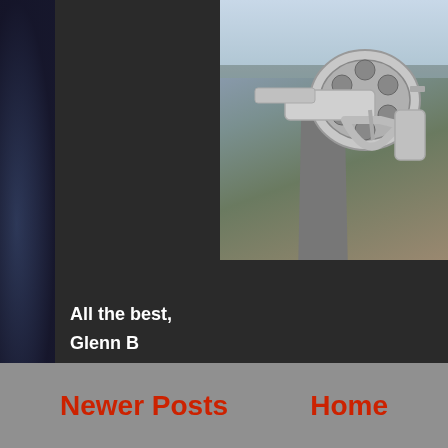[Figure (photo): A silver/stainless steel revolver handgun in the foreground with a rural road and grassy landscape in the background.]
All the best,
Glenn B
Posted by Glenn B at 10/11/2016 05:00:00 AM     No co
Newer Posts
Home